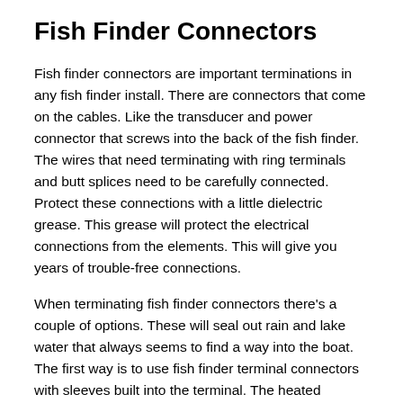Fish Finder Connectors
Fish finder connectors are important terminations in any fish finder install. There are connectors that come on the cables. Like the transducer and power connector that screws into the back of the fish finder. The wires that need terminating with ring terminals and butt splices need to be carefully connected. Protect these connections with a little dielectric grease. This grease will protect the electrical connections from the elements. This will give you years of trouble-free connections.
When terminating fish finder connectors there's a couple of options. These will seal out rain and lake water that always seems to find a way into the boat. The first way is to use fish finder terminal connectors with sleeves built into the terminal. The heated sleeves shrink down onto the wire for a neat termination. It also has glue inside the sleeve to seal out moisture. This glue melts inside filling any void and sealing it from any water intrusion. This helps keep the wire from corroding. Corrosion is